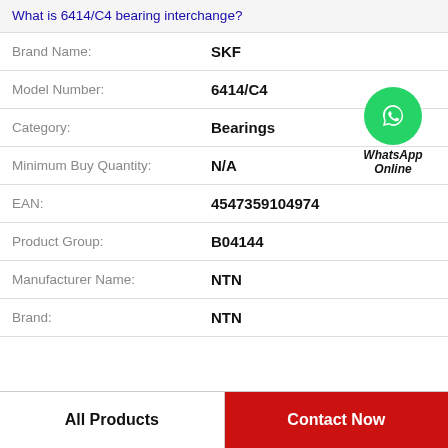What is 6414/C4 bearing interchange?
| Field | Value |
| --- | --- |
| Brand Name: | SKF |
| Model Number: | 6414/C4 |
| Category: | Bearings |
| Minimum Buy Quantity: | N/A |
| EAN: | 4547359104974 |
| Product Group: | B04144 |
| Manufacturer Name: | NTN |
| Brand: | NTN |
[Figure (logo): WhatsApp Online green circle icon with phone handset, labeled WhatsApp Online in italic bold text]
All Products
Contact Now